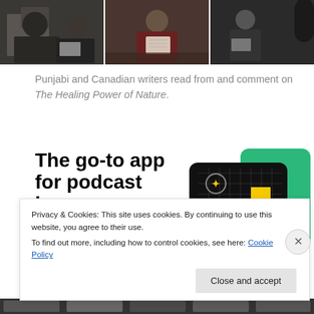[Figure (photo): Three photos side by side of people at what appears to be a reading or panel event — writers reading from books/papers]
Punjabi and Canadian writers read from and comment on The Healing Power of Nature.
[Figure (infographic): Advertisement banner: 'The go-to app for podcast lovers. Download now' with podcast app card imagery including 99% Invisible card]
Privacy & Cookies: This site uses cookies. By continuing to use this website, you agree to their use. To find out more, including how to control cookies, see here: Cookie Policy
Close and accept